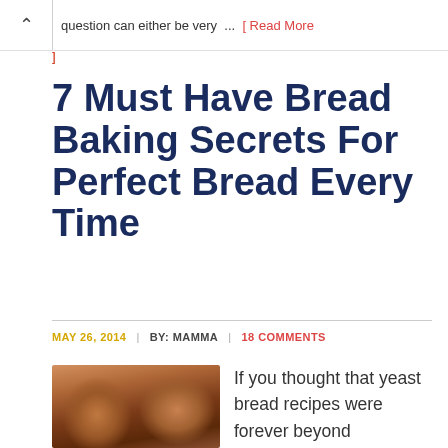question can either be very ... [ Read More ]
7 Must Have Bread Baking Secrets For Perfect Bread Every Time
MAY 26, 2014 | BY: MAMMA | 18 COMMENTS
[Figure (photo): Close-up photo of two loaves of freshly baked bread, showing golden-brown crust tops side by side]
If you thought that yeast bread recipes were forever beyond